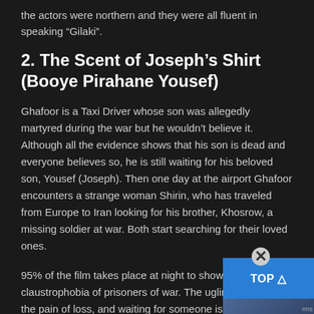the actors were northern and they were all fluent in speaking “Gilaki”.
2. The Scent of Joseph’s Shirt (Booye Pirahane Yousef)
Ghafoor is a Taxi Driver whose son was allegedly martyred during the war but he wouldn’t believe it. Although all the evidence shows that his son is dead and everyone believes so, he is still waiting for his beloved son, Yousef (Joseph). Then one day at the airport Ghafoor encounters a strange woman Shirin, who has traveled from Europe to Iran looking for his brother, Khosrow, a missing soldier at war. Both start searching for their loved ones.
95% of the film takes place at night to show the claustrophobia of prisoners of war. The ugliness of, war, the pain of loss, and waiting for someone is shown in the magnificent way in this movie with a piece of enormous music composed by Majid Entezami which turned to a